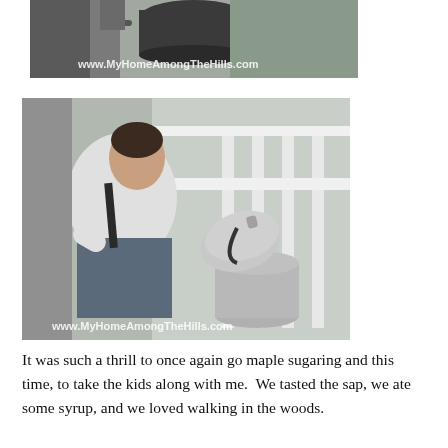[Figure (photo): Photo of people pouring something into a large pot outdoors, with watermark www.MyHomeAmongTheHills.com]
[Figure (photo): Photo of a person leaning over a large aluminum pot on a propane burner on a porch, with watermark www.MyHomeAmongTheHills.com]
It was such a thrill to once again go maple sugaring and this time, to take the kids along with me.  We tasted the sap, we ate some syrup, and we loved walking in the woods.